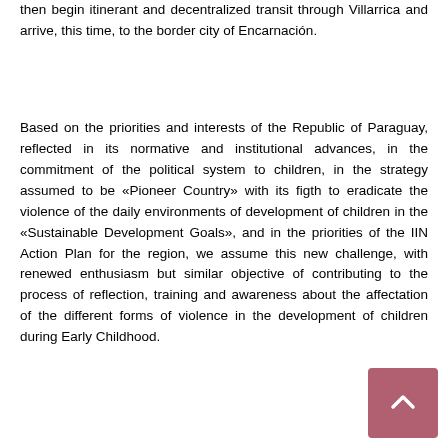then begin itinerant and decentralized transit through Villarrica and arrive, this time, to the border city of Encarnación.
Based on the priorities and interests of the Republic of Paraguay, reflected in its normative and institutional advances, in the commitment of the political system to children, in the strategy assumed to be «Pioneer Country» with its figth to eradicate the violence of the daily environments of development of children in the «Sustainable Development Goals», and in the priorities of the IIN Action Plan for the region, we assume this new challenge, with renewed enthusiasm but similar objective of contributing to the process of reflection, training and awareness about the affectation of the different forms of violence in the development of children during Early Childhood.